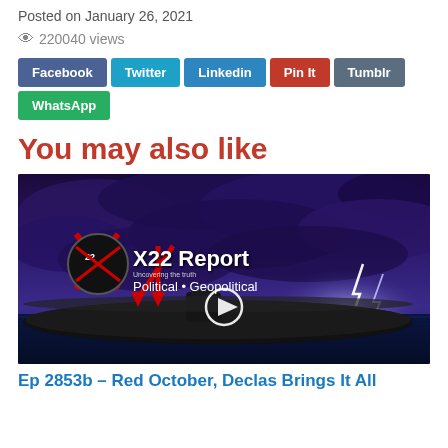Posted on January 26, 2021
220040 views
Facebook  Twitter  Linkedin  Pin It  Tumblr  WhatsApp
You may also like
[Figure (screenshot): X22 Report thumbnail showing submarine and storm, with text 'X22 Report Political • Geopolitical' and a play button overlay]
Ep 2853b – Red October, Declas Brings It All